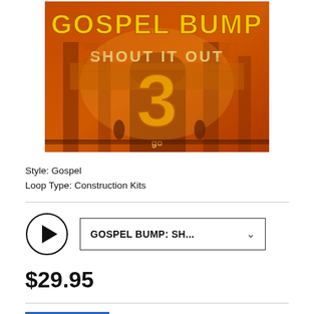[Figure (illustration): Album cover for Gospel Bump: Shout It Out 3. Orange/sepia toned image of a building with large bold yellow text 'GOSPEL BUMP' at top and 'SHOUT IT OUT' in lighter text below, with a large numeral '3' in the center and 'go' logo at the bottom.]
Style: Gospel
Loop Type: Construction Kits
[Figure (other): Play button (circle with triangle) and a dropdown selector showing 'GOSPEL BUMP: SH...' with a chevron arrow]
$29.95